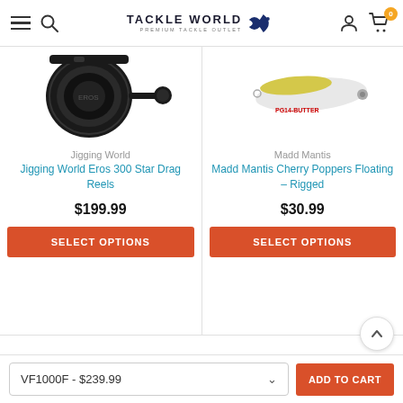Tackle World - Premium Tackle Outlet
[Figure (photo): Black fishing reel - Jigging World Eros 300 Star Drag]
Jigging World
Jigging World Eros 300 Star Drag Reels
$199.99
SELECT OPTIONS
[Figure (photo): White and yellow fishing lure - Madd Mantis Cherry Poppers, label reads PG14-BUTTER]
Madd Mantis
Madd Mantis Cherry Poppers Floating - Rigged
$30.99
SELECT OPTIONS
VF1000F - $239.99
ADD TO CART